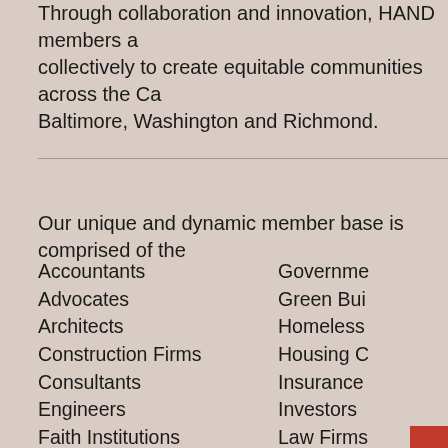Through collaboration and innovation, HAND members and collectively to create equitable communities across the Ca Baltimore, Washington and Richmond.
Our unique and dynamic member base is comprised of the
Accountants
Advocates
Architects
Construction Firms
Consultants
Engineers
Faith Institutions
Financiers
Governme
Green Bui
Homeless
Housing C
Insurance
Investors
Law Firms
Lenders